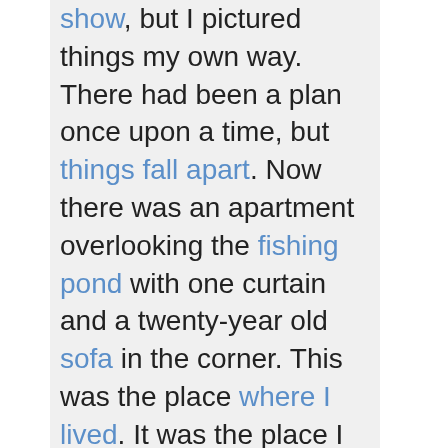show, but I pictured things my own way. There had been a plan once upon a time, but things fall apart. Now there was an apartment overlooking the fishing pond with one curtain and a twenty-year old sofa in the corner. This was the place where I lived. It was the place I came to quietly celebrate the value of being alive. I spent a few minutes looking for proof that my wife was not a cartoon and was not satisfied by the evidence I gathered. There was failure on that front. I ate some processed chicken out of a can and drank egg nog and whiskey from a festive holiday cup and smiled. Somewhere out there was someone who was spending their